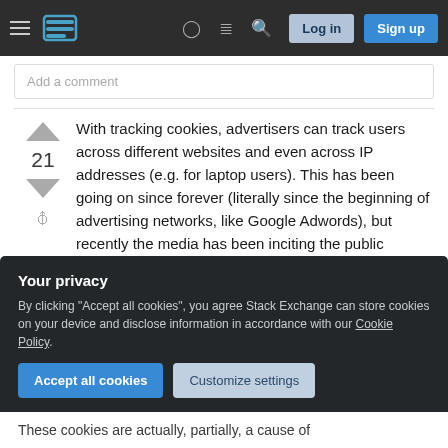Stack Exchange navigation bar with hamburger menu, logo, help, chat, search icons, Log in and Sign up buttons
Add a comment
With tracking cookies, advertisers can track users across different websites and even across IP addresses (e.g. for laptop users). This has been going on since forever (literally since the beginning of advertising networks, like Google Adwords), but recently the media has been inciting the public against those cookies, blaming them as the root cause for privacy violation. It's gone so far that the
Your privacy
By clicking "Accept all cookies", you agree Stack Exchange can store cookies on your device and disclose information in accordance with our Cookie Policy.
Accept all cookies
Customize settings
These cookies are actually, partially, a cause of